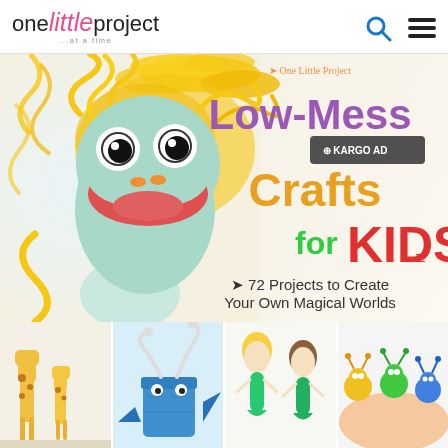[Figure (logo): One Little Project logo with search and menu icons in header]
[Figure (photo): Book cover for 'Low-Mess Crafts for KIDS - 72 Projects to Create Your Own Magical Worlds' featuring a colorful sock puppet monster with yellow curly hair and googly eyes, with KARGO AD overlay badge]
[Figure (photo): Strip of four thumbnail photos showing kids crafts: cardboard tube giraffes, a blue cup whale, spoon mermaids, and finger puppet bugs]